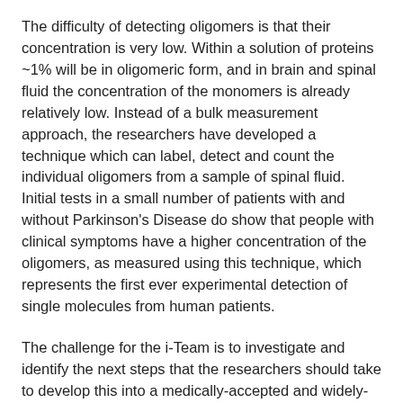The difficulty of detecting oligomers is that their concentration is very low. Within a solution of proteins ~1% will be in oligomeric form, and in brain and spinal fluid the concentration of the monomers is already relatively low. Instead of a bulk measurement approach, the researchers have developed a technique which can label, detect and count the individual oligomers from a sample of spinal fluid. Initial tests in a small number of patients with and without Parkinson's Disease do show that people with clinical symptoms have a higher concentration of the oligomers, as measured using this technique, which represents the first ever experimental detection of single molecules from human patients.
The challenge for the i-Team is to investigate and identify the next steps that the researchers should take to develop this into a medically-accepted and widely-used test. Some example questions include: Having proved the basic science, what evidence will be needed for this to be adopted? Where will test be of most value – in new drug development programs, in